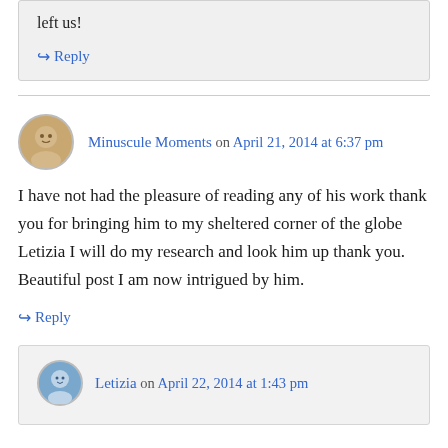left us!
↪ Reply
Minuscule Moments on April 21, 2014 at 6:37 pm
I have not had the pleasure of reading any of his work thank you for bringing him to my sheltered corner of the globe Letizia I will do my research and look him up thank you. Beautiful post I am now intrigued by him.
↪ Reply
Letizia on April 22, 2014 at 1:43 pm